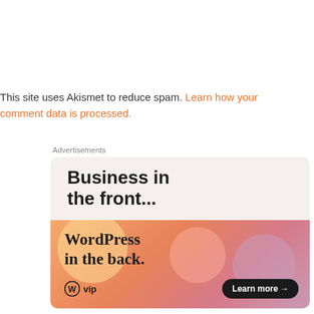This site uses Akismet to reduce spam. Learn how your comment data is processed.
Advertisements
[Figure (illustration): WordPress VIP advertisement. Top half: light beige/cream background with bold black sans-serif text 'Business in the front...'. Bottom half: warm gradient orange-pink-purple background with decorative blobs, serif bold text 'WordPress in the back.', WordPress W logo with 'vip' text on lower left, and a dark pill-shaped 'Learn more →' button on the lower right.]